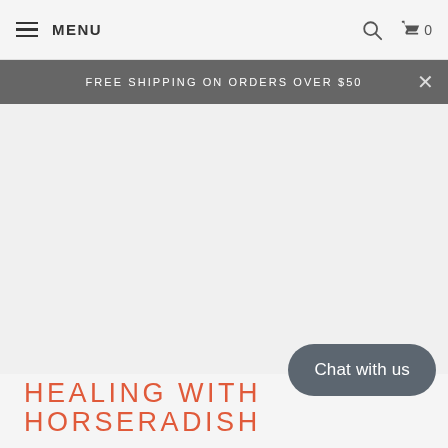MENU | search | cart 0
FREE SHIPPING ON ORDERS OVER $50
[Figure (photo): Large blank/light gray image area, likely a hero product or editorial image placeholder]
HEALING WITH HORSERADISH